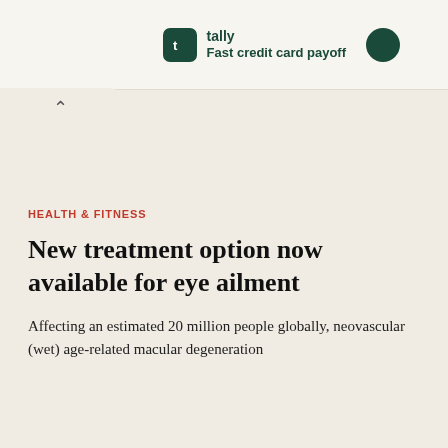tally Fast credit card payoff
HEALTH & FITNESS
New treatment option now available for eye ailment
Affecting an estimated 20 million people globally, neovascular (wet) age-related macular degeneration